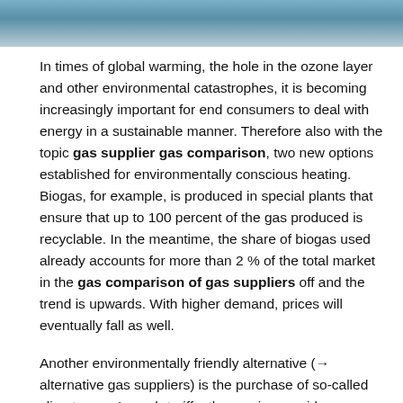[Figure (photo): Partial photograph visible at the top of the page, appears to show a sky or atmospheric scene with blue tones.]
In times of global warming, the hole in the ozone layer and other environmental catastrophes, it is becoming increasingly important for end consumers to deal with energy in a sustainable manner. Therefore also with the topic gas supplier gas comparison, two new options established for environmentally conscious heating. Biogas, for example, is produced in special plants that ensure that up to 100 percent of the gas produced is recyclable. In the meantime, the share of biogas used already accounts for more than 2 % of the total market in the gas comparison of gas suppliers off and the trend is upwards. With higher demand, prices will eventually fall as well.
Another environmentally friendly alternative (→ alternative gas suppliers) is the purchase of so-called climate gas. In such tariffs, the service provider guarantees its customers to invest a part of its revenue in projects for the protection of the environment or the environment. of the climate to invest. Some gas provider in gas comparison engage, for example